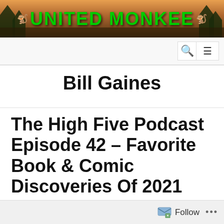[Figure (logo): United Monkee website header banner with green text logo on sunset/forest background]
UNITED MONKEE
Bill Gaines
The High Five Podcast Episode 42 – Favorite Book & Comic Discoveries Of 2021
Follow